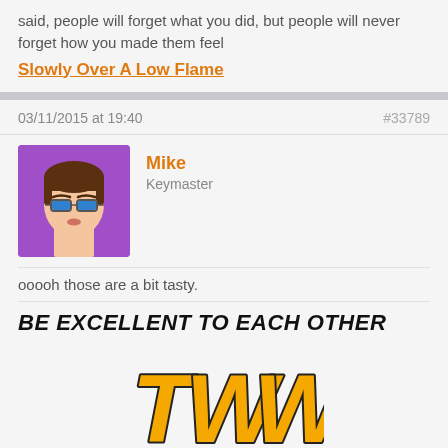said, people will forget what you did, but people will never forget how you made them feel
Slowly Over A Low Flame
03/11/2015 at 19:40   #33789
[Figure (illustration): Cartoon avatar of Mike - a character with brown hair, blue glasses, on a purple background]
Mike
Keymaster
ooooh those are a bit tasty.
BE EXCELLENT TO EACH OTHER
[Figure (logo): TWW logo in bold yellow/orange comic-style letters]
03/11/2015 at 22:06   #33792